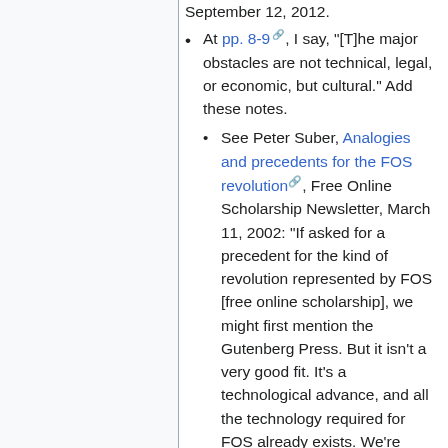September 12, 2012.
At pp. 8-9, I say, "[T]he major obstacles are not technical, legal, or economic, but cultural." Add these notes.
See Peter Suber, Analogies and precedents for the FOS revolution, Free Online Scholarship Newsletter, March 11, 2002: "If asked for a precedent for the kind of revolution represented by FOS [free online scholarship], we might first mention the Gutenberg Press. But it isn't a very good fit. It's a technological advance, and all the technology required for FOS already exists. We're trying to bring about an economic change that will take advantage